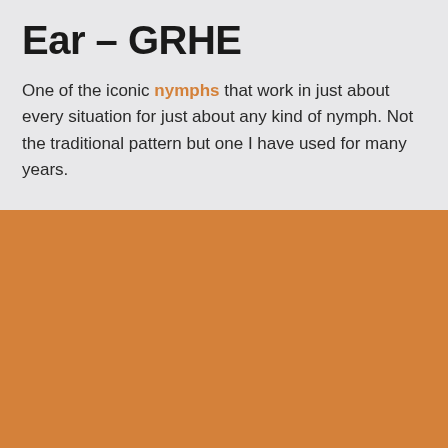Ear – GRHE
One of the iconic nymphs that work in just about every situation for just about any kind of nymph. Not the traditional pattern but one I have used for many years.
[Figure (other): Solid orange/amber colored rectangular block filling the bottom half of the page]